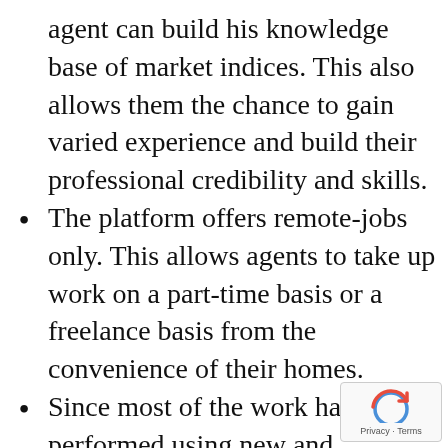agent can build his knowledge base of market indices. This also allows them the chance to gain varied experience and build their professional credibility and skills.
The platform offers remote-jobs only. This allows agents to take up work on a part-time basis or a freelance basis from the convenience of their homes.
Since most of the work has to be performed using new and